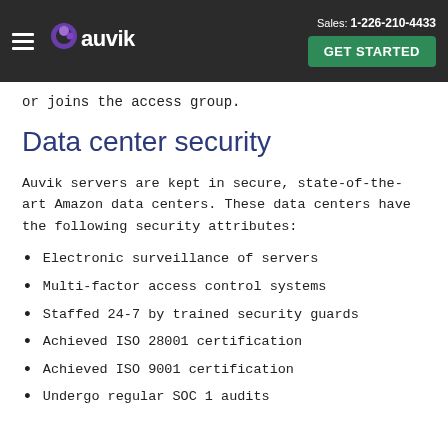Sales: 1-226-210-4433  GET STARTED  [Auvik logo]
or joins the access group.
Data center security
Auvik servers are kept in secure, state-of-the-art Amazon data centers. These data centers have the following security attributes:
Electronic surveillance of servers
Multi-factor access control systems
Staffed 24-7 by trained security guards
Achieved ISO 28001 certification
Achieved ISO 9001 certification
Undergo regular SOC 1 audits